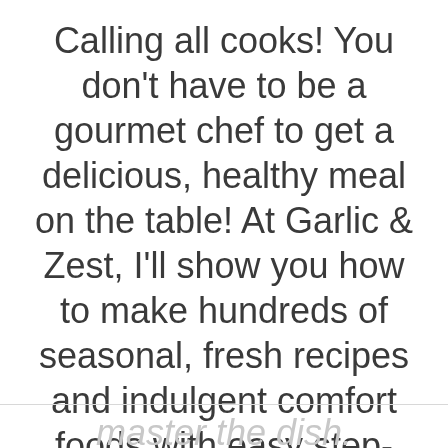Calling all cooks! You don't have to be a gourmet chef to get a delicious, healthy meal on the table! At Garlic & Zest, I'll show you how to make hundreds of seasonal, fresh recipes and indulgent comfort foods with easy step-by-step instructions and photos to help you master the dish.